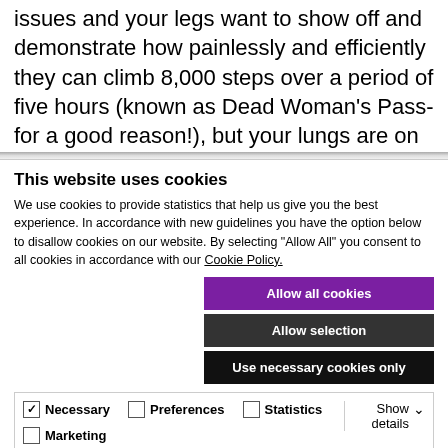issues and your legs want to show off and demonstrate how painlessly and efficiently they can climb 8,000 steps over a period of five hours (known as Dead Woman's Pass- for a good reason!), but your lungs are on
This website uses cookies
We use cookies to provide statistics that help us give you the best experience. In accordance with new guidelines you have the option below to disallow cookies on our website. By selecting "Allow All" you consent to all cookies in accordance with our Cookie Policy.
Allow all cookies
Allow selection
Use necessary cookies only
Necessary  Preferences  Statistics  Marketing  Show details